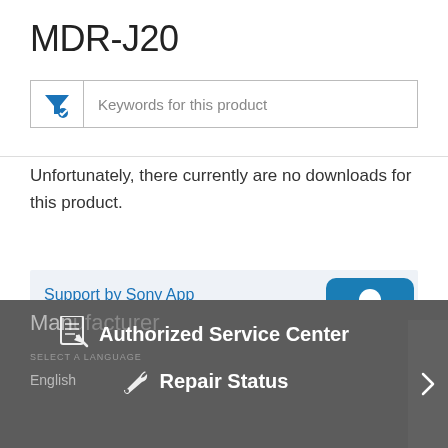MDR-J20
Keywords for this product
Unfortunately, there currently are no downloads for this product.
Support by Sony App
Get notifications about the latest firmware updates, product alerts, and
[Figure (logo): Sony Support by Sony App icon - teal/blue square with white silhouette figure and SONY text at bottom]
Authorized Service Center
Repair Status